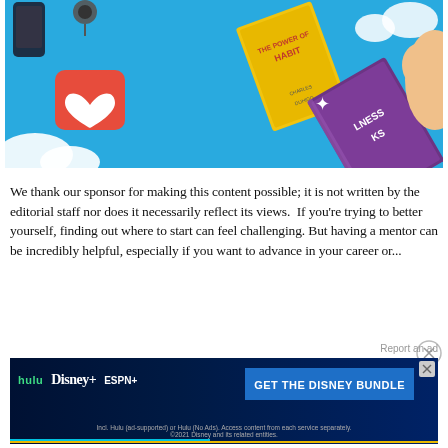[Figure (illustration): Colorful promotional illustration on a bright blue background featuring floating 3D icons: a red heart notification badge, a yellow book titled 'The Power of Habit', a purple book with 'INESS KS' visible, hands holding a phone, earbuds, and white cloud shapes.]
We thank our sponsor for making this content possible; it is not written by the editorial staff nor does it necessarily reflect its views.  If you're trying to better yourself, finding out where to start can feel challenging. But having a mentor can be incredibly helpful, especially if you want to advance in your career or...
[Figure (screenshot): Disney Bundle advertisement banner with dark background showing Hulu, Disney+, and ESPN+ logos on the left, a blue 'GET THE DISNEY BUNDLE' button on the right, and fine print below reading 'Incl. Hulu (ad-supported) or Hulu (No Ads). Access content from each service separately. ©2021 Disney and its related entities.']